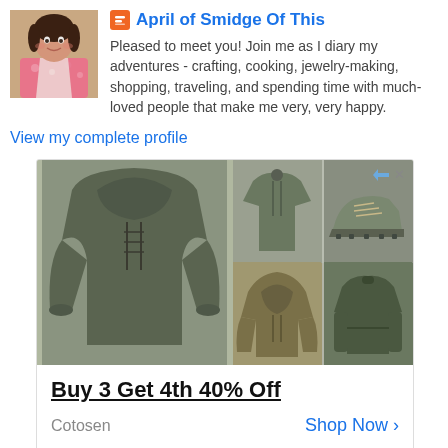[Figure (photo): Profile photo of April, a woman in a pink floral top holding something, smiling]
April of Smidge Of This
Pleased to meet you! Join me as I diary my adventures - crafting, cooking, jewelry-making, shopping, traveling, and spending time with much-loved people that make me very, very happy.
View my complete profile
[Figure (photo): Advertisement showing military/outdoor style hoodies, t-shirt and shoes. Promo text: Buy 3 Get 4th 40% Off. Brand: Cotosen. CTA: Shop Now]
Powered by Blogger.